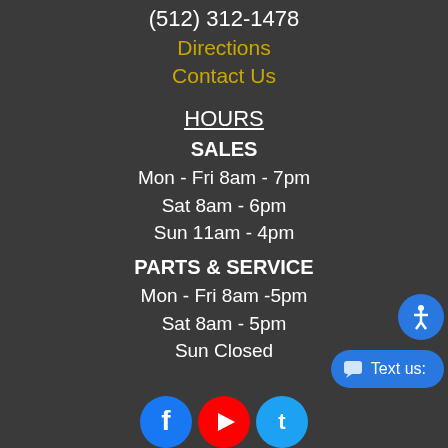(512) 312-1478
Directions
Contact Us
HOURS
SALES
Mon - Fri 8am - 7pm
Sat 8am - 6pm
Sun 11am - 4pm
PARTS & SERVICE
Mon - Fri 8am - 5pm
Sat 8am - 5pm
Sun Closed
[Figure (illustration): Social media icons: Facebook (blue), YouTube (red), Twitter (light blue)]